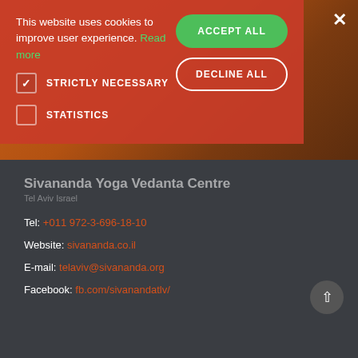[Figure (screenshot): Webpage screenshot showing a cookie consent overlay on top of a yoga/wellness website. The overlay has a red-orange background with accept/decline buttons. Below is a dark footer with contact information for Sivananda Yoga Vedanta Centre.]
This website uses cookies to improve user experience. Read more
STRICTLY NECESSARY
STATISTICS
ACCEPT ALL
DECLINE ALL
Sivananda Yoga Vedanta Centre
Tel Aviv Israel
Tel: +011 972-3-696-18-10
Website: sivananda.co.il
E-mail: telaviv@sivananda.org
Facebook: fb.com/sivanandatlv/